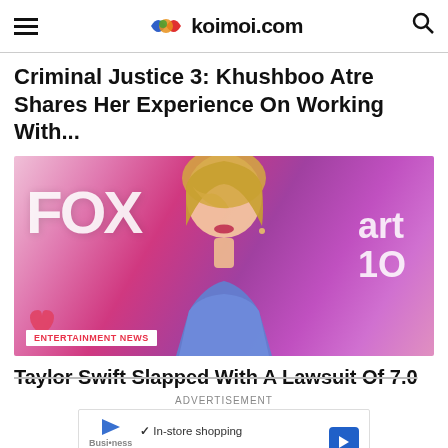koimoi.com
Criminal Justice 3: Khushboo Atre Shares Her Experience On Working With...
[Figure (photo): Photo of a blonde woman (Taylor Swift) in a sequined blue dress standing in front of a colorful FOX / iHeartRadio backdrop with pink and purple hues]
Taylor Swift Slapped With A Lawsuit Of 7.0
ADVERTISEMENT
[Figure (infographic): Advertisement box showing: In-store shopping, Curbside pickup, Delivery with checkmarks and a blue arrow navigation icon]